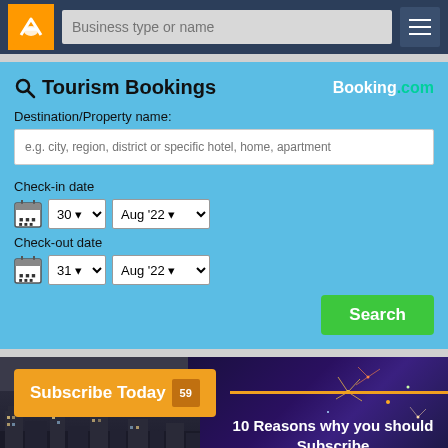[Figure (screenshot): Navigation bar with orange logo, search input 'Business type or name', and hamburger menu button]
[Figure (screenshot): Tourism Bookings widget powered by Booking.com with destination field, check-in date (30 Aug '22), check-out date (31 Aug '22), and Search button]
[Figure (screenshot): Bottom banner showing 'Subscribe Today' button and '10 Reasons why you should Subscribe' text over city/fireworks background]